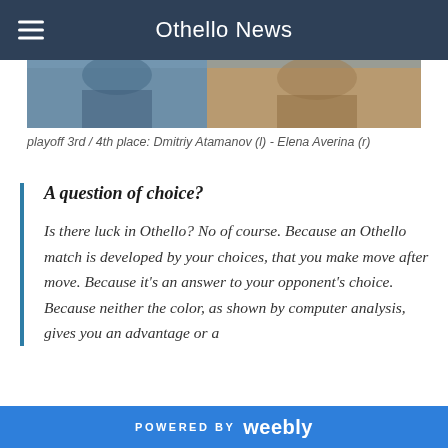Othello News
[Figure (photo): Partial photo showing two people at a table, cropped - playoff 3rd/4th place match scene]
playoff 3rd / 4th place: Dmitriy Atamanov (l) - Elena Averina (r)
A question of choice?
Is there luck in Othello? No of course. Because an Othello match is developed by your choices, that you make move after move. Because it's an answer to your opponent's choice. Because neither the color, as shown by computer analysis, gives you an advantage or a
POWERED BY weebly